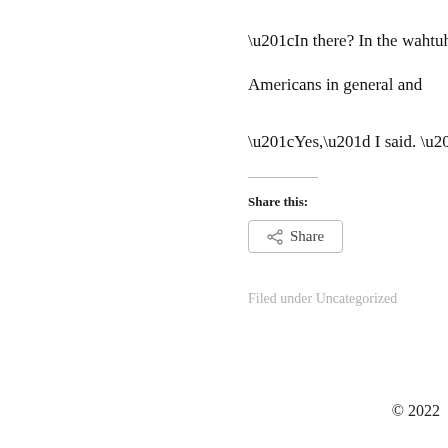“In there? In the wahtuh
Americans in general and
“Yes,” I said. “There is so
Share this:
Share
Filed under Uncategorized
© 2022